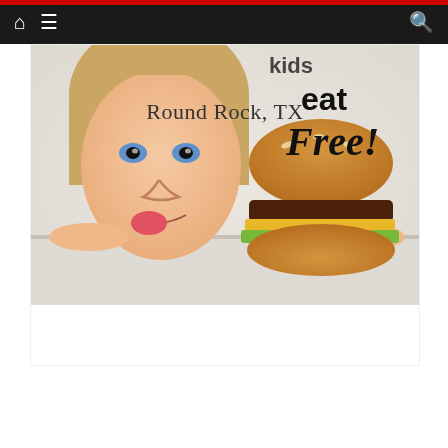Navigation bar with home, menu, and search icons
[Figure (photo): Promotional image: child peeking over table looking at a hamburger, with text 'eat Free!' overlaid. Caption reads 'Round Rock, TX']
Round Rock, TX